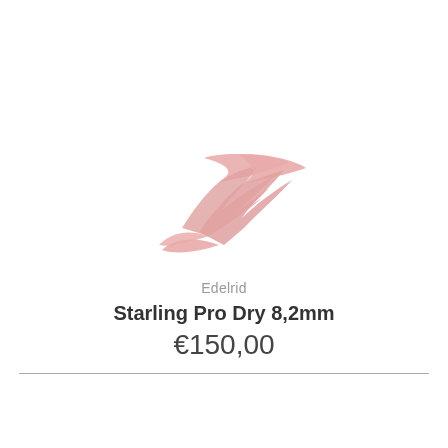[Figure (logo): Edelrid brand logo in light pink/salmon color, stylized lightning bolt or swoosh shape]
Edelrid
Starling Pro Dry 8,2mm
€150,00